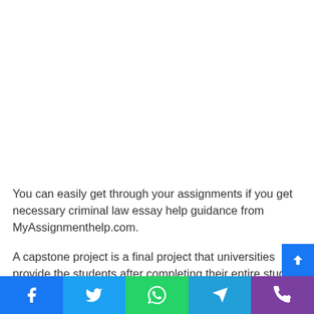You can easily get through your assignments if you get necessary criminal law essay help guidance from MyAssignmenthelp.com.
A capstone project is a final project that universities provide the students after completing their entire study process.